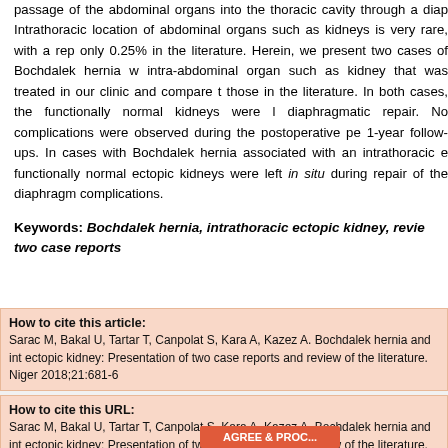passage of the abdominal organs into the thoracic cavity through a diaphragmatic defect. Intrathoracic location of abdominal organs such as kidneys is very rare, with a reported incidence of only 0.25% in the literature. Herein, we present two cases of Bochdalek hernia with an intrathoracic intra-abdominal organ such as kidney that was treated in our clinic and compare the results with those in the literature. In both cases, the functionally normal kidneys were left in situ during diaphragmatic repair. No complications were observed during the postoperative period at 6-month and 1-year follow-ups. In cases with Bochdalek hernia associated with an intrathoracic ectopic kidney, functionally normal ectopic kidneys were left in situ during repair of the diaphragm without any complications.
Keywords: Bochdalek hernia, intrathoracic ectopic kidney, review of the literature, two case reports
How to cite this article: Sarac M, Bakal U, Tartar T, Canpolat S, Kara A, Kazez A. Bochdalek hernia and intrathoracic ectopic kidney: Presentation of two case reports and review of the literature. Niger 2018;21:681-6
How to cite this URL: Sarac M, Bakal U, Tartar T, Canpolat S, Kara A, Kazez A. Bochdalek hernia and intrathoracic ectopic kidney: Presentation of two case reports and review of the literature. Niger [serial online] 2018 [cited 2022 Aug 22];21:681-6. Available from: https://www.njcponline.com/text.asp?2018/21/5/681/231888